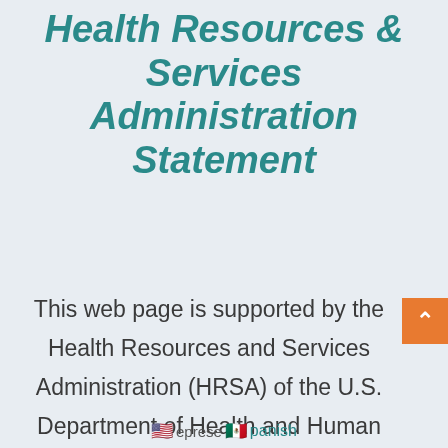Health Resources & Services Administration Statement
This web page is supported by the Health Resources and Services Administration (HRSA) of the U.S. Department of Health and Human Services (HHS) as part of an annual award totaling $1,100,000+. The contents are those of the author(s) and do not necessarily represent the official views of, nor an endorsement, by
[Figure (other): US flag emoji and Mexico flag emoji with 'Spanish' link text — language selector]